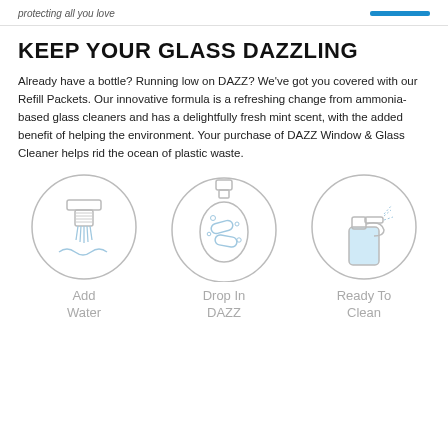protecting all you love
KEEP YOUR GLASS DAZZLING
Already have a bottle? Running low on DAZZ? We've got you covered with our Refill Packets. Our innovative formula is a refreshing change from ammonia-based glass cleaners and has a delightfully fresh mint scent, with the added benefit of helping the environment. Your purchase of DAZZ Window & Glass Cleaner helps rid the ocean of plastic waste.
[Figure (illustration): Three circular icons showing steps: 1) Add Water - faucet/water tap icon, 2) Drop In DAZZ - round bottle with tablets inside, 3) Ready To Clean - spray bottle with blue liquid]
Add Water
Drop In DAZZ
Ready To Clean